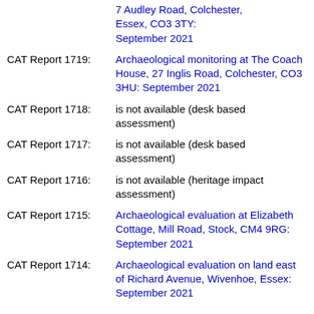7 Audley Road, Colchester, Essex, CO3 3TY: September 2021
CAT Report 1719: Archaeological monitoring at The Coach House, 27 Inglis Road, Colchester, CO3 3HU: September 2021
CAT Report 1718: is not available (desk based assessment)
CAT Report 1717: is not available (desk based assessment)
CAT Report 1716: is not available (heritage impact assessment)
CAT Report 1715: Archaeological evaluation at Elizabeth Cottage, Mill Road, Stock, CM4 9RG: September 2021
CAT Report 1714: Archaeological evaluation on land east of Richard Avenue, Wivenhoe, Essex: September 2021